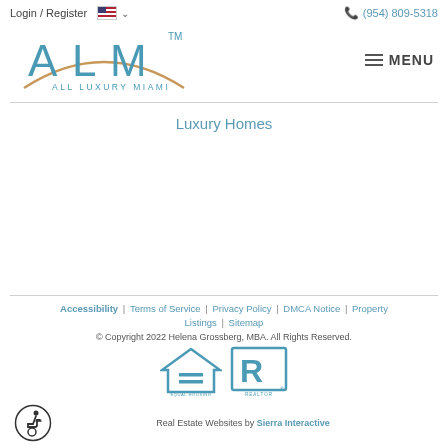Login / Register  (954) 809-5318
[Figure (logo): ALM All Luxury Miami logo with arc design and MENU hamburger button]
Luxury Homes
Accessibility | Terms of Service | Privacy Policy | DMCA Notice | Property Listings | Sitemap
© Copyright 2022 Helena Grossberg, MBA. All Rights Reserved.
Equal Housing Opportunity logo, REALTOR logo
Real Estate Websites by Sierra Interactive